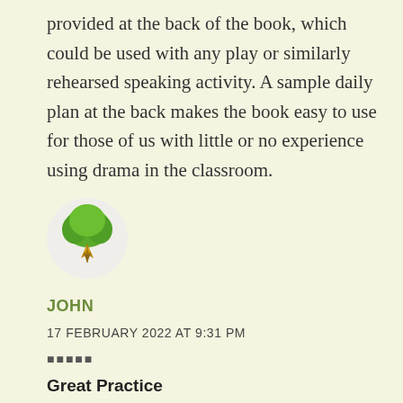provided at the back of the book, which could be used with any play or similarly rehearsed speaking activity. A sample daily plan at the back makes the book easy to use for those of us with little or no experience using drama in the classroom.
[Figure (illustration): A circular avatar icon showing a green tree with a golden fountain pen nib at the base, on a light beige background]
JOHN
17 FEBRUARY 2022 AT 9:31 PM
★★★★★
Great Practice